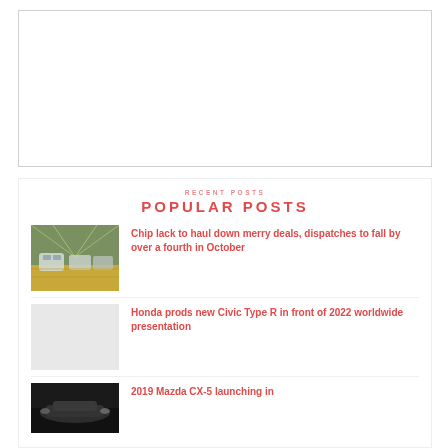[Figure (other): Empty white box placeholder at top of page]
POPULAR POSTS
[Figure (photo): Car manufacturing plant interior showing car frames on assembly line]
Chip lack to haul down merry deals, dispatches to fall by over a fourth in October
[Figure (photo): Light grey placeholder image for Honda Civic Type R article]
Honda prods new Civic Type R in front of 2022 worldwide presentation
[Figure (photo): Dark car image partially visible at bottom for 2019 Mazda CX-5 article]
2019 Mazda CX-5 launching in